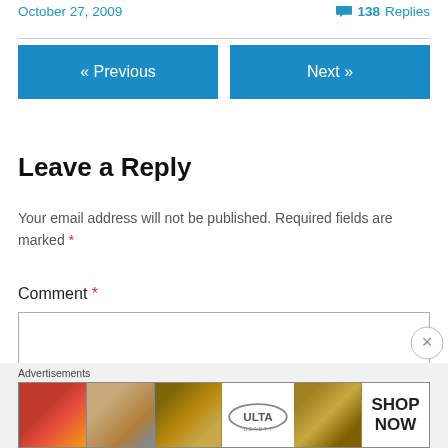October 27, 2009   💬 138 Replies
« Previous   Next »
Leave a Reply
Your email address will not be published. Required fields are marked *
Comment *
[Figure (screenshot): Empty comment text area input box]
[Figure (infographic): Advertisements banner with makeup/beauty product images (lips, brush, eye, ULTA logo, eyes) and SHOP NOW button]